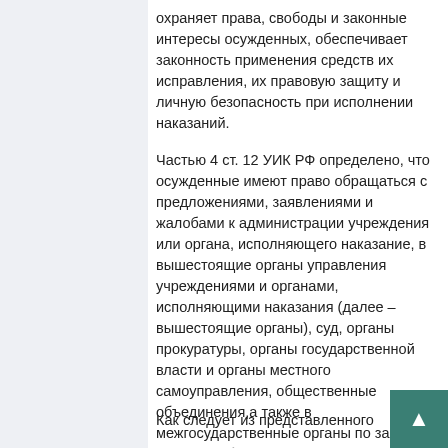охраняет права, свободы и законные интересы осужденных, обеспечивает законность применения средств их исправления, их правовую защиту и личную безопасность при исполнении наказаний.
Частью 4 ст. 12 УИК РФ определено, что осужденные имеют право обращаться с предложениями, заявлениями и жалобами к администрации учреждения или органа, исполняющего наказание, в вышестоящие органы управления учреждениями и органами, исполняющими наказания (далее – вышестоящие органы), суд, органы прокуратуры, органы государственной власти и органы местного самоуправления, общественные объединения,а также в межгосударственные органы по защите прав и свободчеловека.
Как следует из представленного